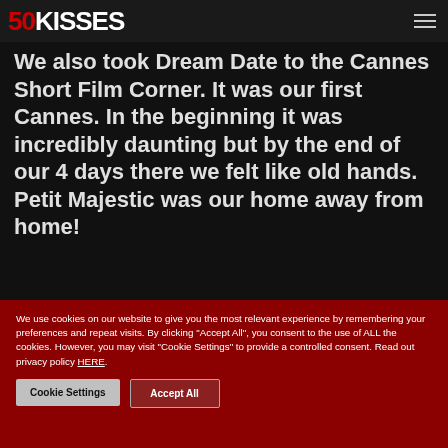50KISSES
We also took Dream Date to the Cannes Short Film Corner. It was our first Cannes. In the beginning it was incredibly daunting but by the end of our 4 days there we felt like old hands. Petit Majestic was our home away from home!
We use cookies on our website to give you the most relevant experience by remembering your preferences and repeat visits. By clicking "Accept All", you consent to the use of ALL the cookies. However, you may visit "Cookie Settings" to provide a controlled consent. Read out privacy policy HERE.
Cookie Settings
Accept All